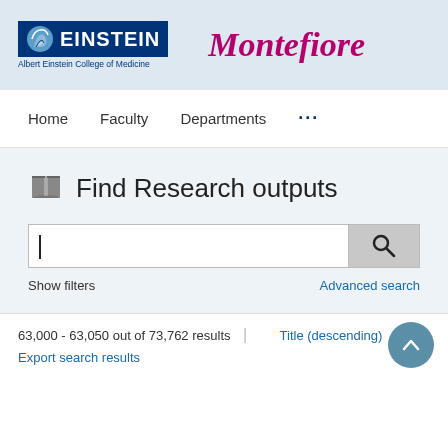[Figure (logo): Albert Einstein College of Medicine logo with dark blue box and Einstein text, plus Montefiore text in magenta italic]
Home   Faculty   Departments   ...
Find Research outputs
Show filters   Advanced search
63,000 - 63,050 out of 73,762 results   Title (descending)
Export search results